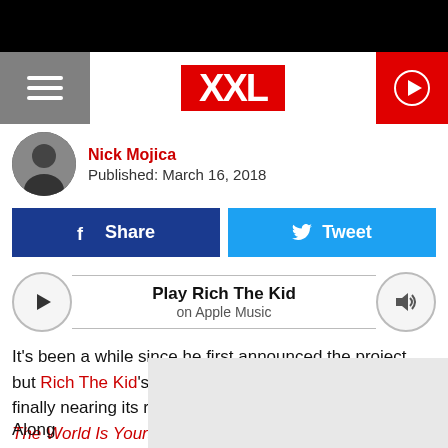XXL
Nick Mojica
Published: March 16, 2018
Share  Tweet
Play Rich The Kid
on Apple Music
It's been a while since he first announced the project, but Rich The Kid's highly-anticipated debut album is finally nearing its release. But before the rapper drops The World Is Yours on March 30, he shares the album's star-studded tracklist.

Along